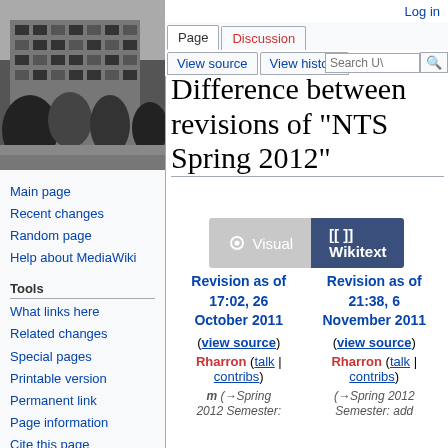[Figure (photo): Black and white photo of a multi-story building with trees in the foreground]
Main page
Recent changes
Random page
Help about MediaWiki
Tools
What links here
Related changes
Special pages
Printable version
Permanent link
Page information
Cite this page
Log in
Difference between revisions of "NTS Spring 2012"
| Revision as of 17:02, 26 October 2011 | Revision as of 21:38, 6 November 2011 |
| --- | --- |
| (view source) | (view source) |
| Rharron (talk | contribs) | Rharron (talk | contribs) |
| m (→Spring 2012 Semester: | (→Spring 2012 Semester: add |